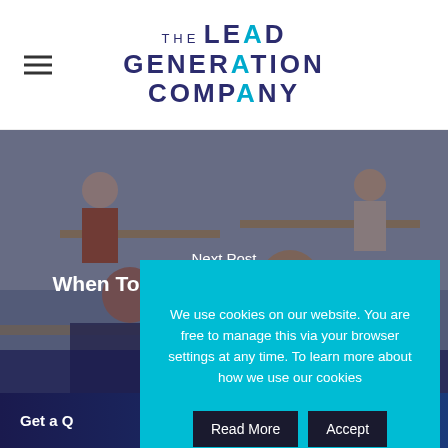[Figure (logo): The Lead Generation Company logo with hamburger menu icon]
[Figure (photo): Office scene with people sitting at tables and working, dark overlay]
Next Post
When To Use Appointment Setting
We use cookies on our website. You are free to manage this via your browser settings at any time. To learn more about how we use our cookies
Read More
Accept
Get a Q...